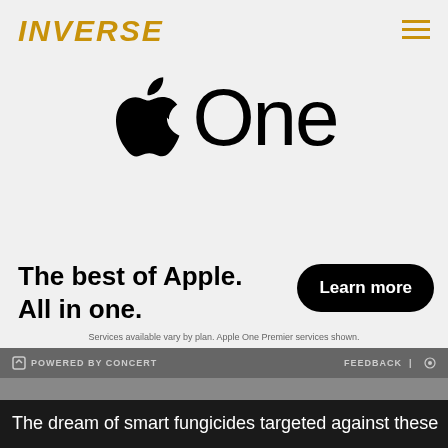[Figure (logo): INVERSE logo in gold/amber italic bold uppercase text]
[Figure (logo): Apple One logo - Apple symbol followed by word 'One' in large black text on light gray background]
The best of Apple. All in one.
Learn more
Services available vary by plan. Apple One Premier services shown.
POWERED BY CONCERT
FEEDBACK | ⚙
The dream of smart fungicides targeted against these